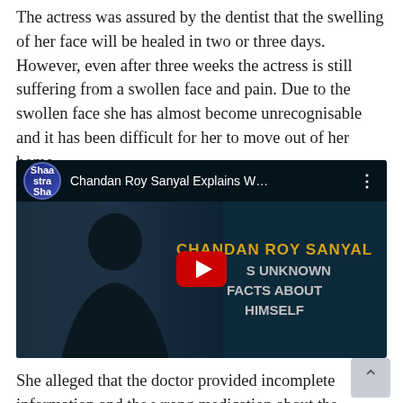The actress was assured by the dentist that the swelling of her face will be healed in two or three days. However, even after three weeks the actress is still suffering from a swollen face and pain. Due to the swollen face she has almost become unrecognisable and it has been difficult for her to move out of her home.
[Figure (screenshot): YouTube video thumbnail showing Chandan Roy Sanyal with title 'Chandan Roy Sanyal Explains W...' The video thumbnail shows the actor against a dark teal background with text 'CHANDAN ROY SANYAL REVEALS UNKNOWN FACTS ABOUT HIMSELF' and a YouTube play button in the center. A channel logo for 'ShaastraSha' is visible in the top left.]
She alleged that the doctor provided incomplete information and the wrong medication about the treatment. The actress is now being treated in another...